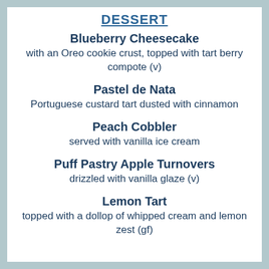DESSERT
Blueberry Cheesecake
with an Oreo cookie crust, topped with tart berry compote (v)
Pastel de Nata
Portuguese custard tart dusted with cinnamon
Peach Cobbler
served with vanilla ice cream
Puff Pastry Apple Turnovers
drizzled with vanilla glaze (v)
Lemon Tart
topped with a dollop of whipped cream and lemon zest (gf)